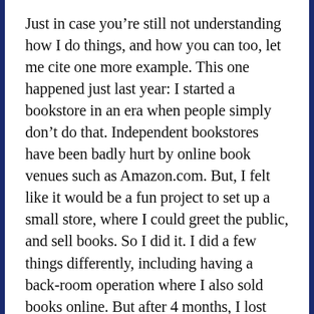Just in case you're still not understanding how I do things, and how you can too, let me cite one more example. This one happened just last year: I started a bookstore in an era when people simply don't do that. Independent bookstores have been badly hurt by online book venues such as Amazon.com. But, I felt like it would be a fun project to set up a small store, where I could greet the public, and sell books. So I did it. I did a few things differently, including having a back-room operation where I also sold books online. But after 4 months, I lost interest. (I used to think losing interest in good projects was one of my bigger flaws, but now I'm realizing it has always been